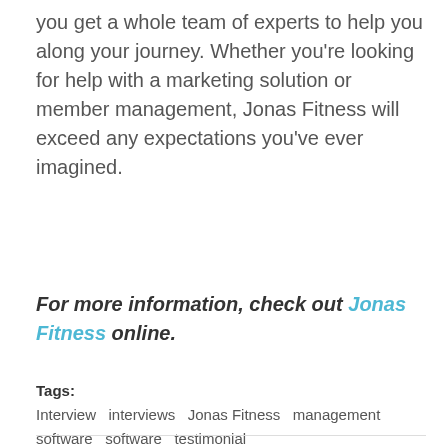you get a whole team of experts to help you along your journey. Whether you're looking for help with a marketing solution or member management, Jonas Fitness will exceed any expectations you've ever imagined.
For more information, check out Jonas Fitness online.
Tags: Interview  interviews  Jonas Fitness  management software  software  testimonial